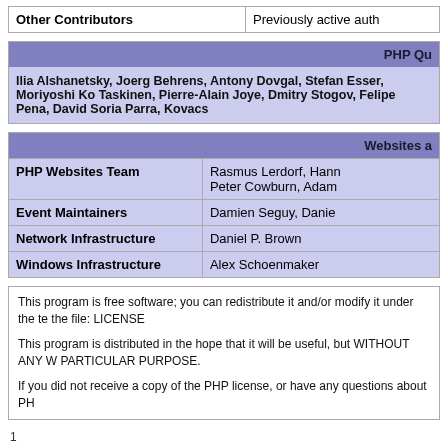| Other Contributors |  |
| --- | --- |
| Other Contributors | Previously active auth |
| PHP Qu |
| --- |
| Ilia Alshanetsky, Joerg Behrens, Antony Dovgal, Stefan Esser, Moriyoshi Ko Taskinen, Pierre-Alain Joye, Dmitry Stogov, Felipe Pena, David Soria Parra, Kovacs |
| Websites a |
| --- |
| PHP Websites Team | Rasmus Lerdorf, Hann Peter Cowburn, Adam |
| Event Maintainers | Damien Seguy, Danie |
| Network Infrastructure | Daniel P. Brown |
| Windows Infrastructure | Alex Schoenmaker |
This program is free software; you can redistribute it and/or modify it under the terms found in the file: LICENSE

This program is distributed in the hope that it will be useful, but WITHOUT ANY WARRANTY; without even the implied warranty of MERCHANTABILITY or FITNESS FOR A PARTICULAR PURPOSE.

If you did not receive a copy of the PHP license, or have any questions about PH
1